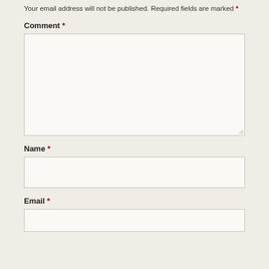Your email address will not be published. Required fields are marked *
Comment *
[Figure (screenshot): Large empty textarea input box for comment field]
Name *
[Figure (screenshot): Single-line text input box for name field]
Email *
[Figure (screenshot): Single-line text input box for email field (partially visible)]